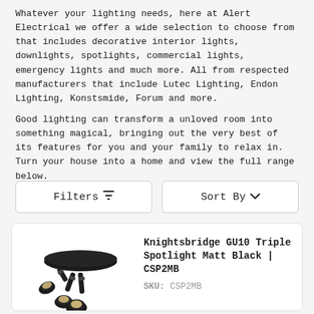Whatever your lighting needs, here at Alert Electrical we offer a wide selection to choose from that includes decorative interior lights, downlights, spotlights, commercial lights, emergency lights and much more. All from respected manufacturers that include Lutec Lighting, Endon Lighting, Konstsmide, Forum and more.
Good lighting can transform a unloved room into something magical, bringing out the very best of its features for you and your family to relax in. Turn your house into a home and view the full range below.
[Figure (other): Filters button with funnel icon and Sort By button with chevron icon]
[Figure (photo): Knightsbridge GU10 Triple Spotlight Matt Black product image showing three adjustable black spotlight heads on a round black base plate]
Knightsbridge GU10 Triple Spotlight Matt Black | CSP2MB SKU: CSP2MB